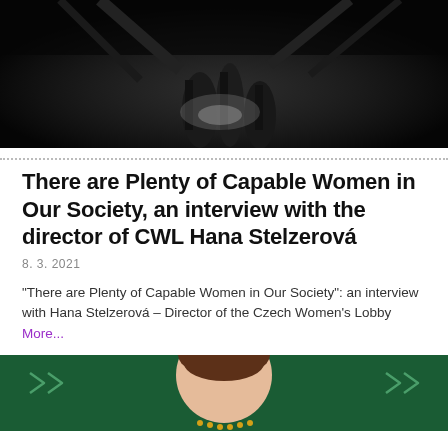[Figure (photo): Black and white photo of people walking, dark background]
There are Plenty of Capable Women in Our Society, an interview with the director of CWL Hana Stelzerová
8. 3. 2021
“There are Plenty of Capable Women in Our Society”: an interview with Hana Stelzerová – Director of the Czech Women’s Lobby More...
[Figure (photo): Photo of a woman with brown hair against a dark green background with decorative elements]